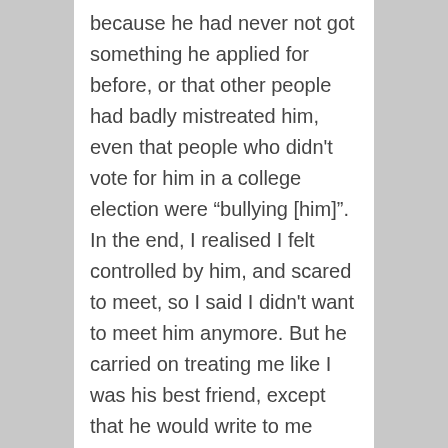because he had never not got something he applied for before, or that other people had badly mistreated him, even that people who didn't vote for him in a college election were “bullying [him]". In the end, I realised I felt controlled by him, and scared to meet, so I said I didn't want to meet him anymore. But he carried on treating me like I was his best friend, except that he would write to me about these things and not really worry if I replied. The last thing that happened was that I wrote to him to say that I didn't think it was appropriate for him to message me about his problems like that because we weren't close friends, and he unfriended